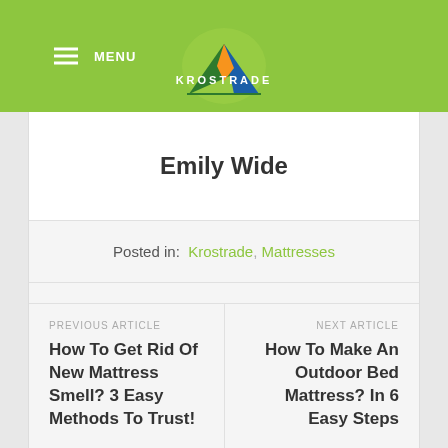MENU  KROSTRADE
Emily Wide
Posted in:  Krostrade, Mattresses
PREVIOUS ARTICLE
How To Get Rid Of New Mattress Smell? 3 Easy Methods To Trust!
NEXT ARTICLE
How To Make An Outdoor Bed Mattress? In 6 Easy Steps